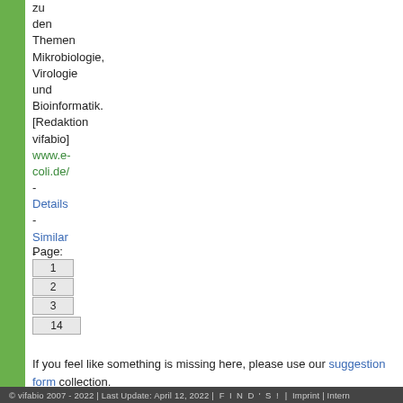zu den Themen Mikrobiologie, Virologie und Bioinformatik. [Redaktion vifabio] www.e-coli.de/ - Details - Similar - Report an Error? ..
Page: 1 2 3 .. 14
If you feel like something is missing here, please use our suggestion form collection.
© vifabio 2007 - 2022 | Last Update: April 12, 2022 |   F I N D ' S !   |  Imprint | Intern